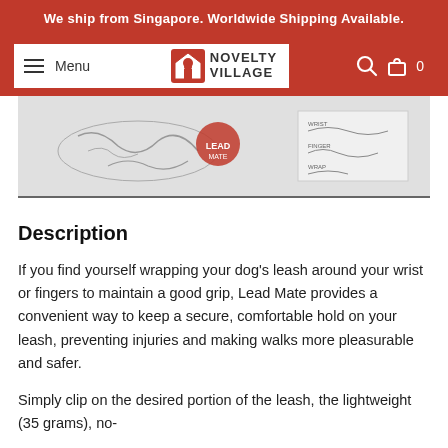We ship from Singapore. Worldwide Shipping Available.
Menu | Novelty Village | Search | 0
[Figure (illustration): Partial product image showing a map/diagram illustration of a dog leash product, with a red circular element and instructional diagrams on the right side.]
Description
If you find yourself wrapping your dog's leash around your wrist or fingers to maintain a good grip, Lead Mate provides a convenient way to keep a secure, comfortable hold on your leash, preventing injuries and making walks more pleasurable and safer.
Simply clip on the desired portion of the leash, the lightweight (35 grams), no-